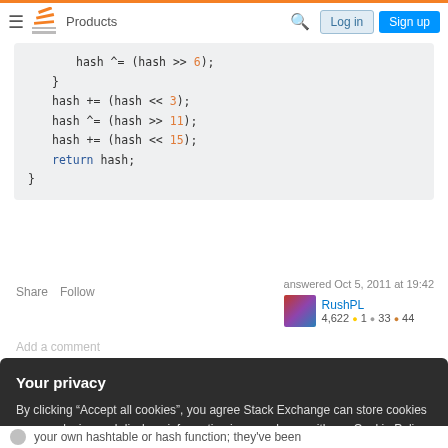≡ [StackOverflow logo] Products 🔍 Log in Sign up
[Figure (screenshot): Code block showing hash function code with syntax highlighting: hash ^= (hash >> 6); } hash += (hash << 3); hash ^= (hash >> 11); hash += (hash << 15); return hash; }]
Share   Follow
answered Oct 5, 2011 at 19:42
RushPL
4,622 ●1 ●33 ●44
Add a comment
Your privacy
By clicking "Accept all cookies", you agree Stack Exchange can store cookies on your device and disclose information in accordance with our Cookie Policy.
Accept all cookies   Customize settings
your own hashtable or hash function; they've been